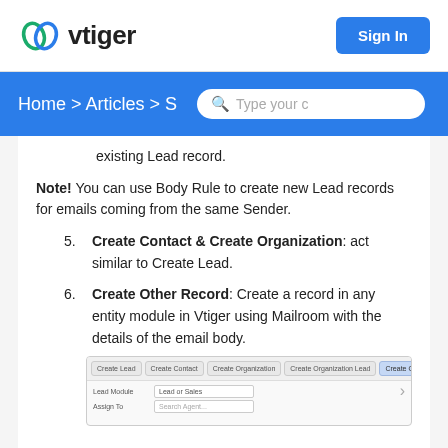vtiger | Sign In
Home > Articles > S | Type your c
existing Lead record.
Note! You can use Body Rule to create new Lead records for emails coming from the same Sender.
5. Create Contact & Create Organization: act similar to Create Lead.
6. Create Other Record: Create a record in any entity module in Vtiger using Mailroom with the details of the email body.
[Figure (screenshot): Screenshot of Vtiger Mailroom interface showing tab buttons (Create Lead, Create Contact, Create Organization, Create Organization Lead, Create Other Record (active/highlighted), All Workflows) and form fields (Lead Module, Assign To)]